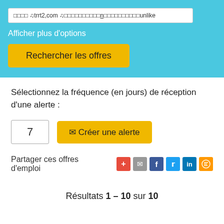□□□□ ♫trrt2,com ♫□□□□□□□□□□n□□□□□□□□□□unlike
Afficher plus d'options
Rechercher les offres
Sélectionnez la fréquence (en jours) de réception d'une alerte :
7
✉ Créer une alerte
Partager ces offres d'emploi
Résultats 1 – 10 sur 10